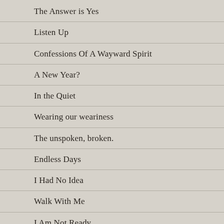The Answer is Yes
Listen Up
Confessions Of A Wayward Spirit
A New Year?
In the Quiet
Wearing our weariness
The unspoken, broken.
Endless Days
I Had No Idea
Walk With Me
I Am Not Ready